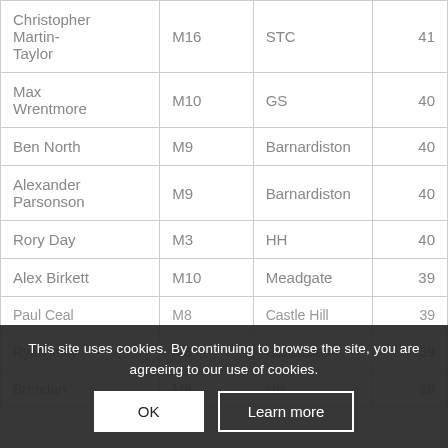| Name | Category | Club | Score |
| --- | --- | --- | --- |
| Christopher Martin-Taylor | M16 | STC | 41 |
| Max Wrentmore | M10 | GS | 40 |
| Ben North | M9 | Barnardiston | 40 |
| Alexander Parsonson | M9 | Barnardiston | 40 |
| Rory Day | M3 | HH | 40 |
| Alex Birkett | M10 | Meadgate | 39 |
| Paul Ceal | M8 | Castle Hill | 39 |
| Ryan Kelly | M8 | Castlecies | 39 |
| Brendan | M8 | HH | 38 |
This site uses cookies. By continuing to browse the site, you are agreeing to our use of cookies.